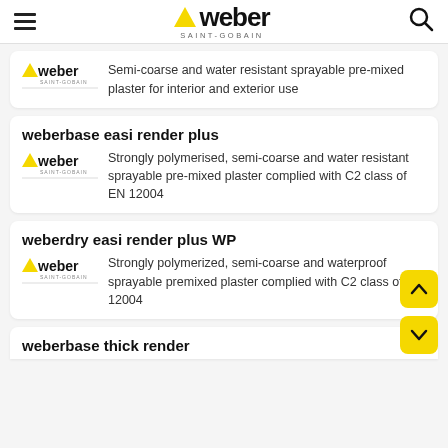weber SAINT-GOBAIN
Semi-coarse and water resistant sprayable pre-mixed plaster for interior and exterior use
weberbase easi render plus
Strongly polymerised, semi-coarse and water resistant sprayable pre-mixed plaster complied with C2 class of EN 12004
weberdry easi render plus WP
Strongly polymerized, semi-coarse and waterproof sprayable premixed plaster complied with C2 class of EN 12004
weberbase thick render